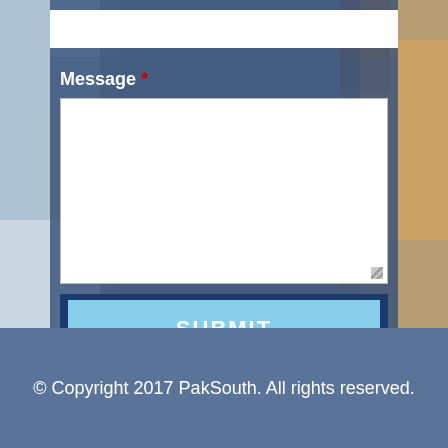[Figure (screenshot): Screenshot of a web contact form partially visible. A blurred warehouse/shipping photo background is visible. The form has a Message label with required asterisk, a large white textarea field, and a light blue SUBMIT button. Below is a dark steel-blue footer.]
Message *
SUBMIT
© Copyright 2017 PakSouth. All rights reserved.